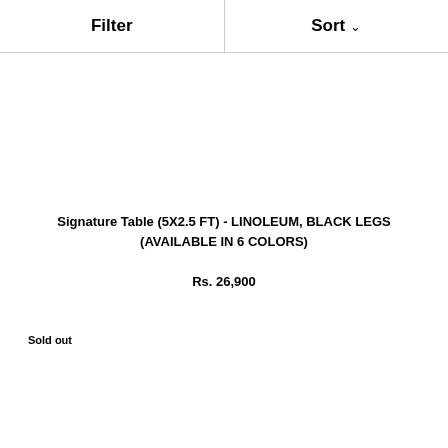Filter   Sort
Signature Table (5X2.5 FT) - LINOLEUM, BLACK LEGS (AVAILABLE IN 6 COLORS)
Rs. 26,900
Sold out